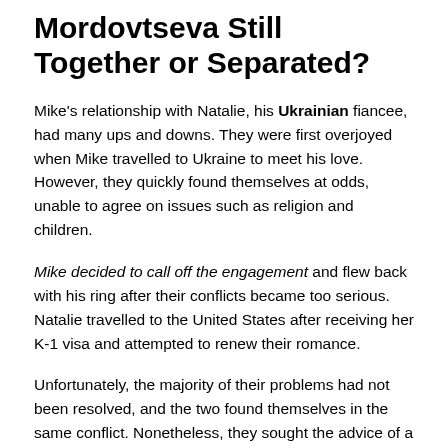Mordovtseva Still Together or Separated?
Mike's relationship with Natalie, his Ukrainian fiancee, had many ups and downs. They were first overjoyed when Mike travelled to Ukraine to meet his love. However, they quickly found themselves at odds, unable to agree on issues such as religion and children.
Mike decided to call off the engagement and flew back with his ring after their conflicts became too serious. Natalie travelled to the United States after receiving her K-1 visa and attempted to renew their romance.
Unfortunately, the majority of their problems had not been resolved, and the two found themselves in the same conflict. Nonetheless, they sought the advice of a therapist and even selected a wedding date, desperate to make their relationship